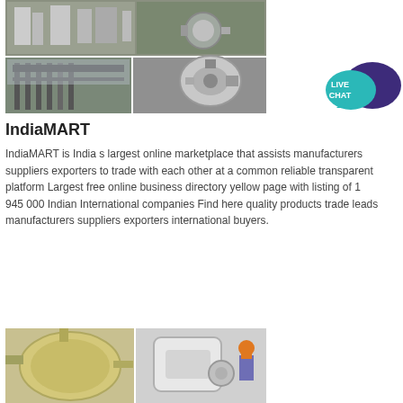[Figure (photo): Grid of industrial machinery and equipment photos - mills, outdoor equipment structures, and mechanical components]
[Figure (illustration): Live Chat speech bubble icon with teal and dark purple colors]
IndiaMART
IndiaMART is India s largest online marketplace that assists manufacturers suppliers exporters to trade with each other at a common reliable transparent platform Largest free online business directory yellow page with listing of 1 945 000 Indian International companies Find here quality products trade leads manufacturers suppliers exporters international buyers.
[Figure (other): Blue Chat Online button]
[Figure (photo): Industrial equipment photos - large cylindrical tank and a worker near white industrial machinery]